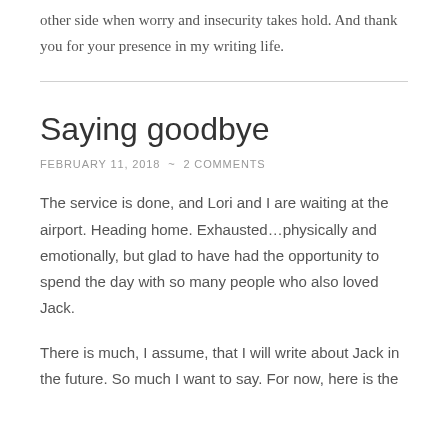other side when worry and insecurity takes hold.  And thank you for your presence in my writing life.
Saying goodbye
FEBRUARY 11, 2018  ~  2 COMMENTS
The service is done, and Lori and I are waiting at the airport. Heading home. Exhausted…physically and emotionally, but glad to have had the opportunity to spend the day with so many people who also loved Jack.
There is much, I assume, that I will write about Jack in the future. So much I want to say. For now, here is the